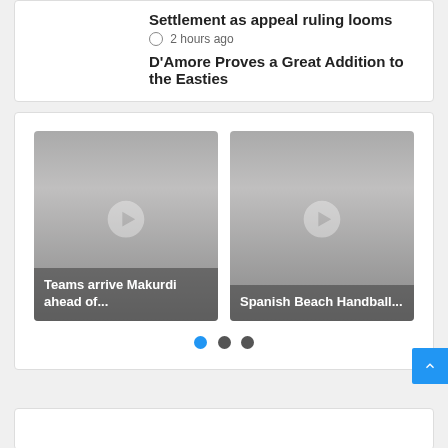Settlement as appeal ruling looms
2 hours ago
D'Amore Proves a Great Addition to the Easties
[Figure (photo): Carousel image placeholder: Teams arrive Makurdi ahead of...]
Teams arrive Makurdi ahead of...
[Figure (photo): Carousel image placeholder: Spanish Beach Handball...]
Spanish Beach Handball...